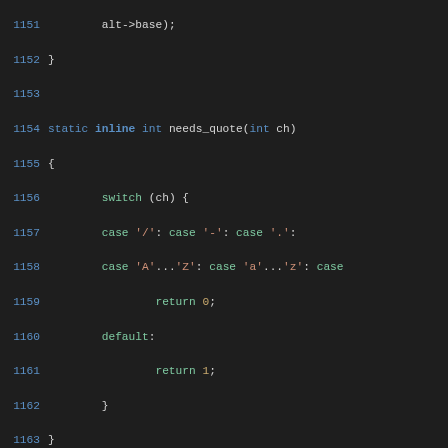[Figure (screenshot): Source code viewer showing C code lines 1151-1181 with syntax highlighting. Dark background with blue line numbers, green/red/white colored code tokens.]